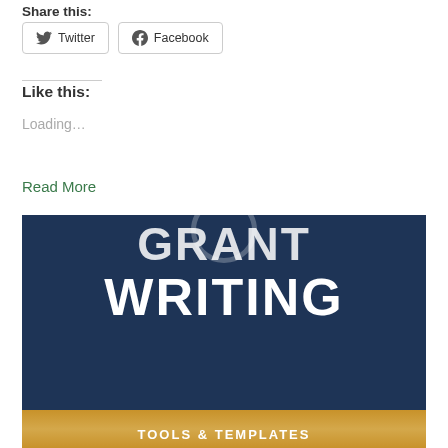Share this:
Twitter  Facebook
Like this:
Loading...
Read More
[Figure (photo): Book cover showing 'GRANT WRITING' text in white bold letters on a dark navy blue background, with a gold/orange band at the bottom containing 'TOOLS & TEMPLATES' text.]